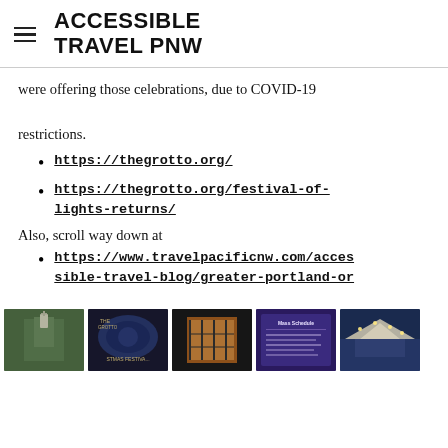ACCESSIBLE TRAVEL PNW
were offering those celebrations, due to COVID-19 restrictions.
https://thegrotto.org/
https://thegrotto.org/festival-of-lights-returns/
Also, scroll way down at
https://www.travelpacificnw.com/accessible-travel-blog/greater-portland-or
[Figure (photo): Row of five thumbnail photos related to The Grotto and Christmas Festival of Lights in Portland, OR]